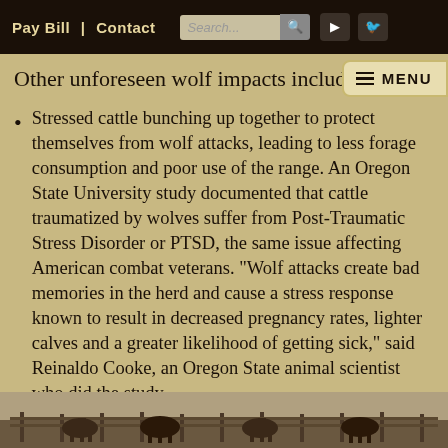Pay Bill | Contact Search...
Other unforeseen wolf impacts includ
Stressed cattle bunching up together to protect themselves from wolf attacks, leading to less forage consumption and poor use of the range. An Oregon State University study documented that cattle traumatized by wolves suffer from Post-Traumatic Stress Disorder or PTSD, the same issue affecting American combat veterans. “Wolf attacks create bad memories in the herd and cause a stress response known to result in decreased pregnancy rates, lighter calves and a greater likelihood of getting sick,” said Reinaldo Cooke, an Oregon State animal scientist who did the study.
[Figure (photo): Black and white photograph of cattle at the bottom of the page]